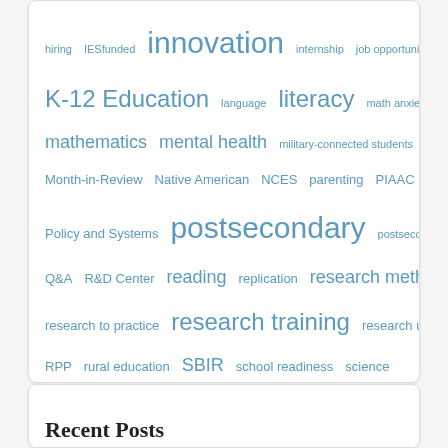[Figure (infographic): Tag cloud of education-related topics with varying font sizes indicating frequency/weight. Tags include: hiring, IESfunded, innovation, internship, job opportunity, K-12 Education, language, literacy, math anxiety, mathematics, mental health, military-connected students, Month-in-Review, Native American, NCES, parenting, PIAAC, Policy and Systems, postsecondary, postsecondary education, Q&A, R&D Center, reading, replication, research methods, research to practice, research training, research use, RFU, RPP, rural education, SBIR, school readiness, science, sexual orientation, socialemotional, socioemotional, special education, STEM, students with disabilities, teaching, Teaching and Teachers, technical working group, technology, training, transition]
Recent Posts